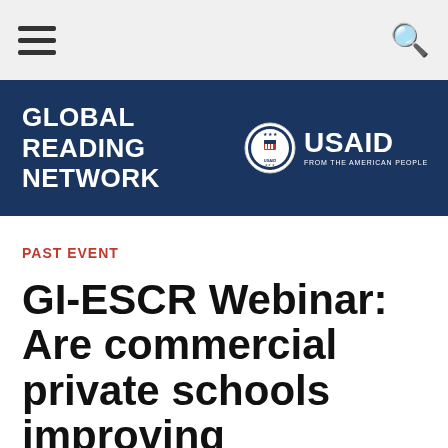[Figure (logo): GLOBAL READING NETWORK banner with USAID logo (seal and wordmark) on dark navy blue background]
PAST EVENT
GI-ESCR Webinar: Are commercial private schools improving transparency in